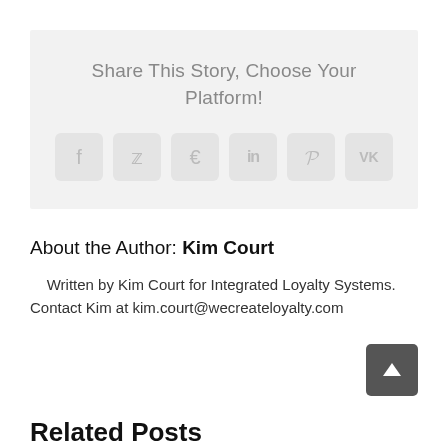Share This Story, Choose Your Platform!
[Figure (infographic): Social sharing icons: Facebook, Twitter, Reddit, LinkedIn, Pinterest, VK]
About the Author: Kim Court
Written by Kim Court for Integrated Loyalty Systems. Contact Kim at kim.court@wecreateloyalty.com
Related Posts